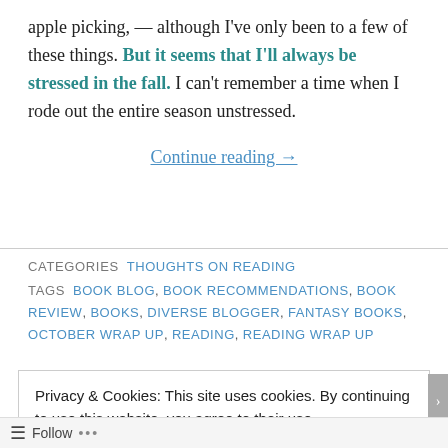apple picking, — although I've only been to a few of these things. But it seems that I'll always be stressed in the fall. I can't remember a time when I rode out the entire season unstressed.
Continue reading →
CATEGORIES  THOUGHTS ON READING
TAGS  BOOK BLOG, BOOK RECOMMENDATIONS, BOOK REVIEW, BOOKS, DIVERSE BLOGGER, FANTASY BOOKS, OCTOBER WRAP UP, READING, READING WRAP UP
Privacy & Cookies: This site uses cookies. By continuing to use this website, you agree to their use.
To find out more, including how to control cookies, see here: Cookie Policy
Close and accept
Follow